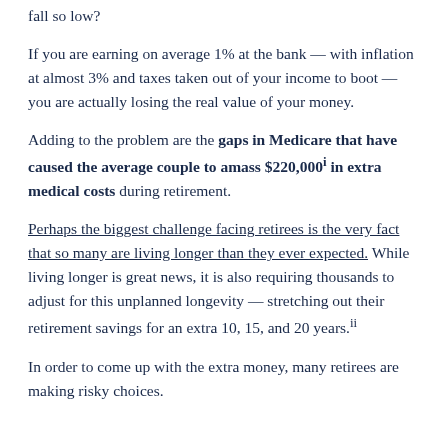fall so low?
If you are earning on average 1% at the bank — with inflation at almost 3% and taxes taken out of your income to boot — you are actually losing the real value of your money.
Adding to the problem are the gaps in Medicare that have caused the average couple to amass $220,000i in extra medical costs during retirement.
Perhaps the biggest challenge facing retirees is the very fact that so many are living longer than they ever expected. While living longer is great news, it is also requiring thousands to adjust for this unplanned longevity — stretching out their retirement savings for an extra 10, 15, and 20 years.ii
In order to come up with the extra money, many retirees are making risky choices.